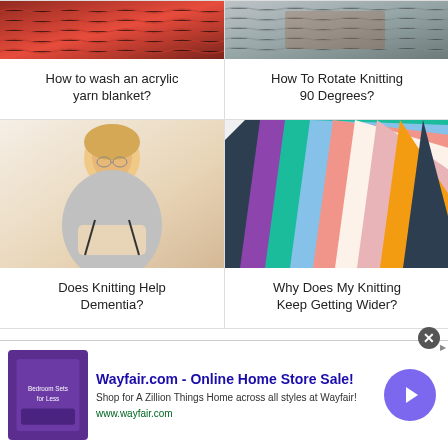[Figure (photo): Red knitted yarn blanket close-up texture]
How to wash an acrylic yarn blanket?
[Figure (photo): Grey knitted fabric on brown table]
How To Rotate Knitting 90 Degrees?
[Figure (photo): Woman smiling and knitting on a couch]
Does Knitting Help Dementia?
[Figure (photo): Colorful knitted blanket with diagonal stripes in multiple colors]
Why Does My Knitting Keep Getting Wider?
Wayfair.com - Online Home Store Sale! Shop for A Zillion Things Home across all styles at Wayfair! www.wayfair.com